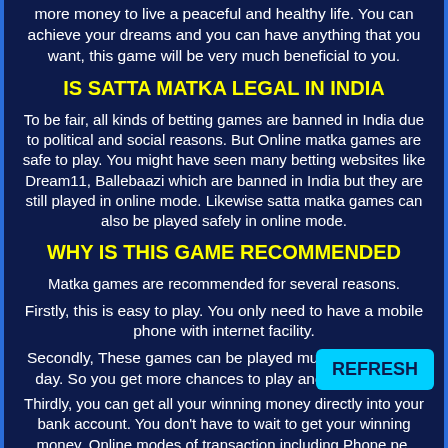more money to live a peaceful and healthy life. You can achieve your dreams and you can have anything that you want, this game will be very much beneficial to you.
IS SATTA MATKA LEGAL IN INDIA
To be fair, all kinds of betting games are banned in India due to political and social reasons. But Online matka games are safe to play. You might have seen many betting websites like Dream11, Ballebaazi which are banned in India but they are still played in online mode. Likewise satta matka games can also be played safely in online mode.
WHY IS THIS GAME RECOMMENDED
Matka games are recommended for several reasons.
Firstly, this is easy to play. You only need to have a mobile phone with internet facility.
Secondly, These games can be played multiple times in a day. So you get more chances to play and earn money.
Thirdly, you can get all your winning money directly into your bank account. You don't have to wait to get your winning money. Online modes of transaction including Phone pe, Google pay and Paytm etc. are available for the service. So your winning
[Figure (other): REFRESH button in cyan/teal color]